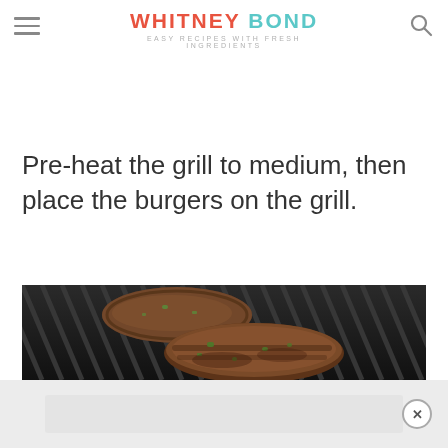WHITNEY BOND — EASY RECIPES WITH FRESH INGREDIENTS
Mix everything together, then form into two ½ lb. burger patties.
Pre-heat the grill to medium, then place the burgers on the grill.
[Figure (photo): Two seasoned burger patties cooking on a dark BBQ grill with visible grill grates]